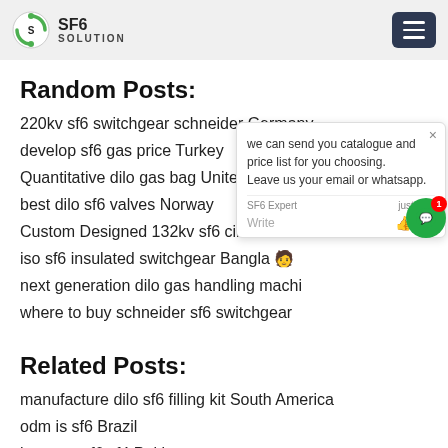SF6 SOLUTION
Random Posts:
220kv sf6 switchgear schneider Germany
develop sf6 gas price Turkey
Quantitative dilo gas bag United Kingdom
best dilo sf6 valves Norway
Custom Designed 132kv sf6 circuit brea...
iso sf6 insulated switchgear Bangla...
next generation dilo gas handling machi...
where to buy schneider sf6 switchgear
Related Posts:
manufacture dilo sf6 filling kit South America
odm is sf6 Brazil
low cost sf6 cf4 Pakistan